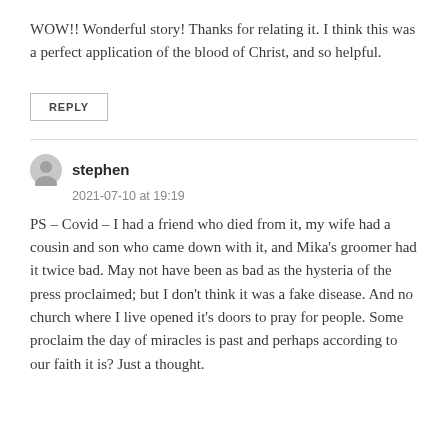WOW!! Wonderful story! Thanks for relating it. I think this was a perfect application of the blood of Christ, and so helpful.
REPLY
stephen
2021-07-10 at 19:19
PS – Covid – I had a friend who died from it, my wife had a cousin and son who came down with it, and Mika's groomer had it twice bad. May not have been as bad as the hysteria of the press proclaimed; but I don't think it was a fake disease. And no church where I live opened it's doors to pray for people. Some proclaim the day of miracles is past and perhaps according to our faith it is? Just a thought.